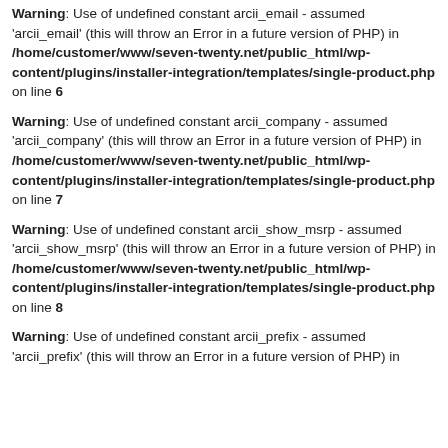Warning: Use of undefined constant arcii_email - assumed 'arcii_email' (this will throw an Error in a future version of PHP) in /home/customer/www/seven-twenty.net/public_html/wp-content/plugins/installer-integration/templates/single-product.php on line 6
Warning: Use of undefined constant arcii_company - assumed 'arcii_company' (this will throw an Error in a future version of PHP) in /home/customer/www/seven-twenty.net/public_html/wp-content/plugins/installer-integration/templates/single-product.php on line 7
Warning: Use of undefined constant arcii_show_msrp - assumed 'arcii_show_msrp' (this will throw an Error in a future version of PHP) in /home/customer/www/seven-twenty.net/public_html/wp-content/plugins/installer-integration/templates/single-product.php on line 8
Warning: Use of undefined constant arcii_prefix - assumed 'arcii_prefix' (this will throw an Error in a future version of PHP) in